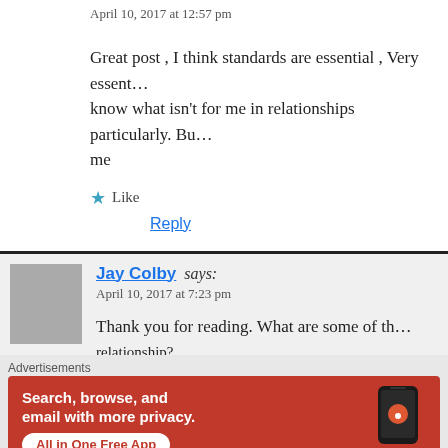April 10, 2017 at 12:57 pm
Great post , I think standards are essential , Very essent… know what isn't for me in relationships particularly. Bu… me
★ Like
Reply
Jay Colby says:
April 10, 2017 at 7:23 pm
Thank you for reading. What are some of th… relationship?
[Figure (screenshot): DuckDuckGo advertisement banner: orange/red background with white text 'Search, browse, and email with more privacy.' and button 'All in One Free App' and DuckDuckGo logo with phone illustration]
Advertisements